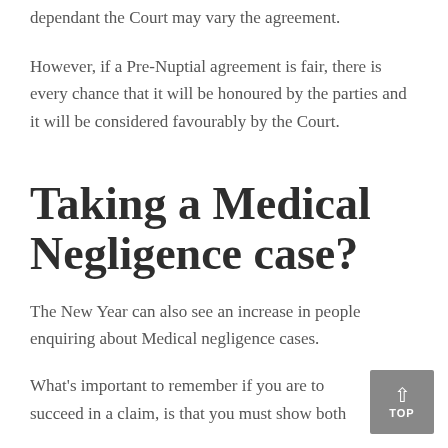dependant the Court may vary the agreement.
However, if a Pre-Nuptial agreement is fair, there is every chance that it will be honoured by the parties and it will be considered favourably by the Court.
Taking a Medical Negligence case?
The New Year can also see an increase in people enquiring about Medical negligence cases.
What's important to remember if you are to succeed in a claim, is that you must show both